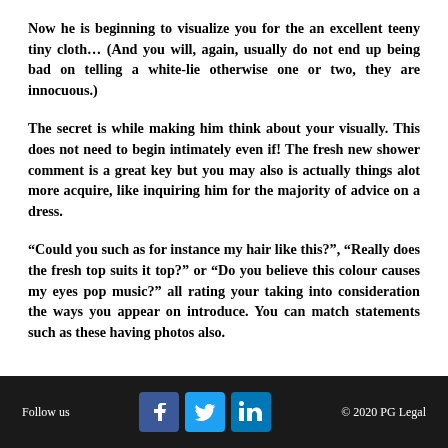Now he is beginning to visualize you for the an excellent teeny tiny cloth… (And you will, again, usually do not end up being bad on telling a white-lie otherwise one or two, they are innocuous.)
The secret is while making him think about your visually. This does not need to begin intimately even if! The fresh new shower comment is a great key but you may also is actually things alot more acquire, like inquiring him for the majority of advice on a dress.
“Could you such as for instance my hair like this?”, “Really does the fresh top suits it top?” or “Do you believe this colour causes my eyes pop music?” all rating your taking into consideration the ways you appear on introduce. You can match statements such as these having photos also.
Follow us   © 2020 PG Legal